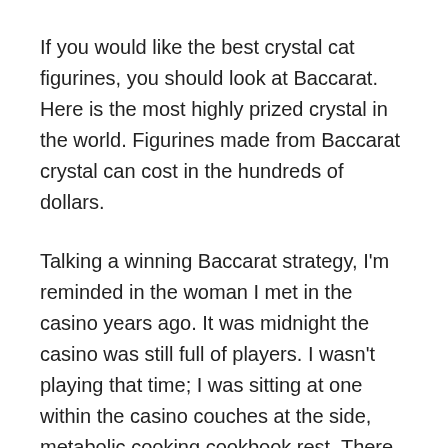If you would like the best crystal cat figurines, you should look at Baccarat. Here is the most highly prized crystal in the world. Figurines made from Baccarat crystal can cost in the hundreds of dollars.
Talking a winning Baccarat strategy, I'm reminded in the woman I met in the casino years ago. It was midnight the casino was still full of players. I wasn't playing that time; I was sitting at one within the casino couches at the side, metabolic cooking cookbook rest. There a show at a distance away and And maybe someone popular in town was perform. I was staring in the show but my mind was somewhere.